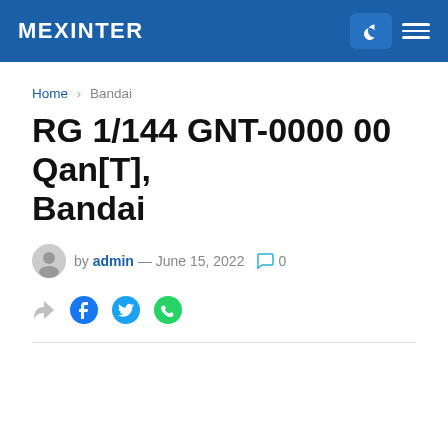MEXINTER
Home › Bandai
RG 1/144 GNT-0000 00 Qan[T], Bandai
by admin — June 15, 2022  0
[Figure (other): Social share icons: share arrow, Facebook, Twitter, WhatsApp]